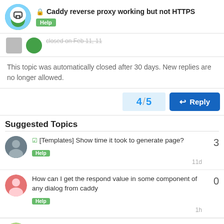Caddy reverse proxy working but not HTTPS — Help
This topic was automatically closed after 30 days. New replies are no longer allowed.
4 / 5
Suggested Topics
[Templates] Show time it took to generate page? — Help — 3 replies — 11d
How can I get the respond value in some component of any dialog from caddy — Help — 0 replies — 1h